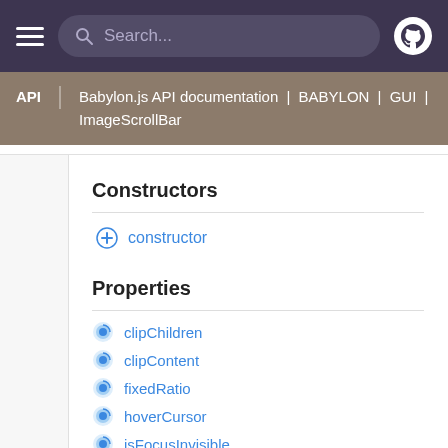Search...
API | Babylon.js API documentation | BABYLON | GUI | ImageScrollBar
Constructors
constructor
Properties
clipChildren
clipContent
fixedRatio
hoverCursor
isFocusInvisible
isHitTestVisible
isPointerBlocker